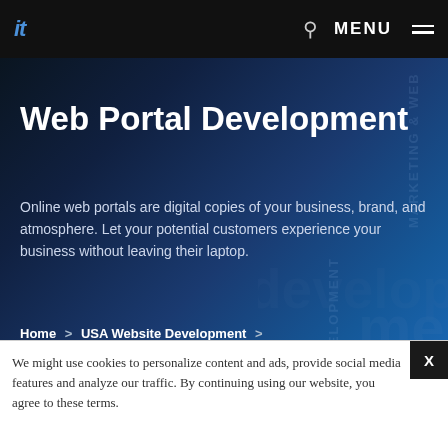it | Q | MENU
Web Portal Development
Online web portals are digital copies of your business, brand, and atmosphere. Let your potential customers experience your business without leaving their laptop.
Home > USA Website Development > Web Portal Development
We might use cookies to personalize content and ads, provide social media features and analyze our traffic. By continuing using our website, you agree to these terms.